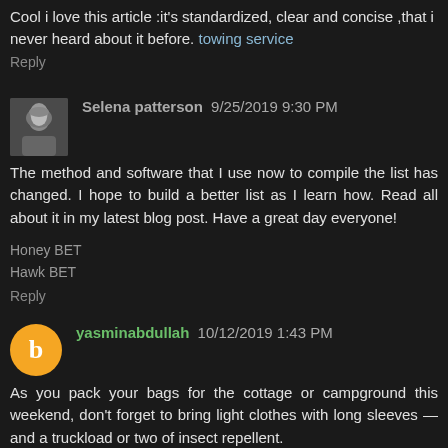Cool i love this article :it's standardized, clear and concise ,that i never heard about it before. towing service
Reply
Selena patterson 9/25/2019 9:30 PM
The method and software that I use now to compile the list has changed. I hope to build a better list as I learn how. Read all about it in my latest blog post. Have a great day everyone!
Honey BET
Hawk BET
Reply
yasminabdullah 10/12/2019 1:43 PM
As you pack your bags for the cottage or campground this weekend, don't forget to bring light clothes with long sleeves — and a truckload or two of insect repellent.